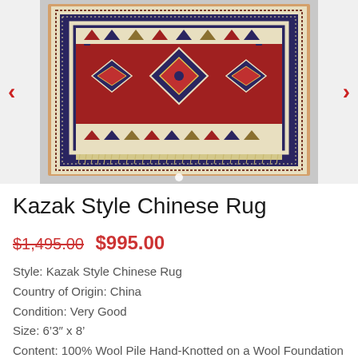[Figure (photo): A Kazak style Chinese rug displayed on a gray floor, featuring geometric medallion patterns in red, navy, ivory, and gold. Red navigation arrows visible on left and right sides of the image carousel.]
Kazak Style Chinese Rug
$1,495.00 $995.00
Style: Kazak Style Chinese Rug
Country of Origin: China
Condition: Very Good
Size: 6'3" x 8'
Content: 100% Wool Pile Hand-Knotted on a Wool Foundation
Age: circa 1990s